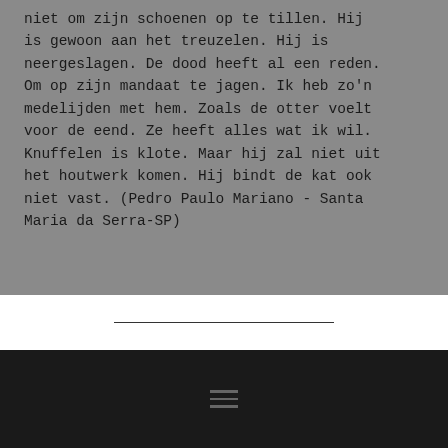niet om zijn schoenen op te tillen. Hij is gewoon aan het treuzelen. Hij is neergeslagen. De dood heeft al een reden. Om op zijn mandaat te jagen. Ik heb zo'n medelijden met hem. Zoals de otter voelt voor de eend. Ze heeft alles wat ik wil. Knuffelen is klote. Maar hij zal niet uit het houtwerk komen. Hij bindt de kat ook niet vast. (Pedro Paulo Mariano - Santa Maria da Serra-SP)
[Figure (other): Horizontal divider line separating content area from footer]
[Figure (other): Dark footer bar with hamburger menu icon (three horizontal lines)]